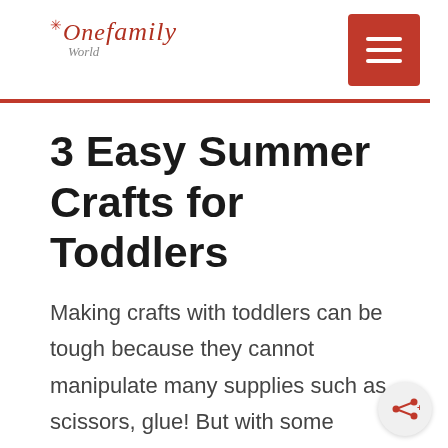One Family World — logo and navigation menu button
3 Easy Summer Crafts for Toddlers
Making crafts with toddlers can be tough because they cannot manipulate many supplies such as scissors, glue! But with some patience and creativity, you can